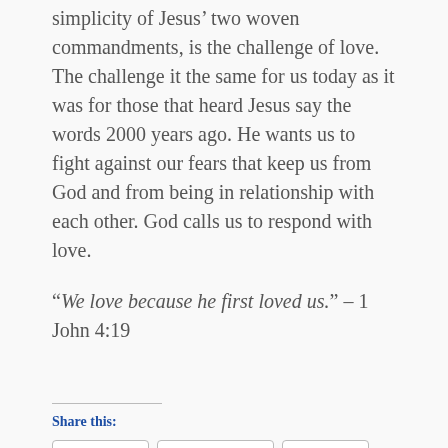simplicity of Jesus’ two woven commandments, is the challenge of love. The challenge it the same for us today as it was for those that heard Jesus say the words 2000 years ago. He wants us to fight against our fears that keep us from God and from being in relationship with each other. God calls us to respond with love.
“We love because he first loved us.” – 1 John 4:19
Share this:
Twitter  Facebook  More
Like
One blogger likes this.